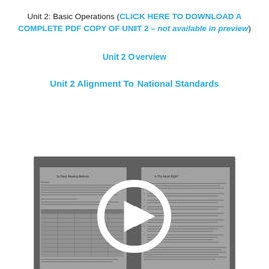Unit 2: Basic Operations (CLICK HERE TO DOWNLOAD A COMPLETE PDF COPY OF UNIT 2 – not available in preview)
Unit 2 Overview
Unit 2 Alignment To National Standards
[Figure (screenshot): Video thumbnail showing a document page with a play button overlay in the center.]